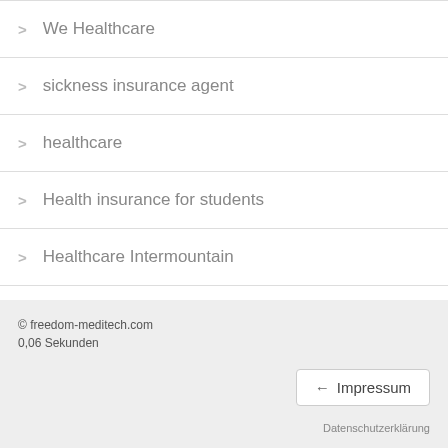We Healthcare
sickness insurance agent
healthcare
Health insurance for students
Healthcare Intermountain
Health insurance
Medical care by private doctors
Do you need health insurance?
Ins Medical
© freedom-meditech.com
0,06 Sekunden
Impressum
Datenschutzerklärung